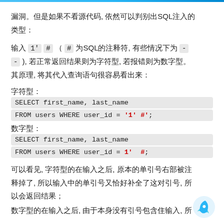漏洞。但是如果不看源代码, 依然可以判别出SQL注入的类型：
输入 1' # （ # 为SQL的注释符, 有些情况下为 -- ), 若正常返回结果则为字符型, 若报错则为数字型。其原理, 将其代入查询语句很容易看出来：
字符型: SELECT first_name, last_name FROM users WHERE user_id = '1' #';
数字型: SELECT first_name, last_name FROM users WHERE user_id = 1' #;
可以看见, 字符型的在输入之后, 原本的单引号右部被注释掉了, 所以输入中的单引号又恰好补全了这对引号, 所以会返回结果；
数字型的在输入之后, 由于本身没有引号包含住输入, 所